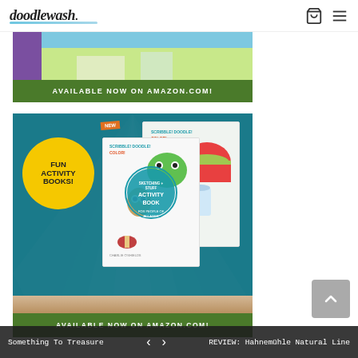doodlewash.
[Figure (illustration): Advertisement banner for activity books available on Amazon.com, showing a book spine and green footer with text AVAILABLE NOW ON AMAZON.COM!]
[Figure (illustration): Advertisement banner showing two Sketching + Stuff Activity Books on a wooden shelf with a yellow circle saying FUN ACTIVITY BOOKS! and green footer with text AVAILABLE NOW ON AMAZON.COM!]
Something To Treasure   <   >   REVIEW: Hahnemühle Natural Line